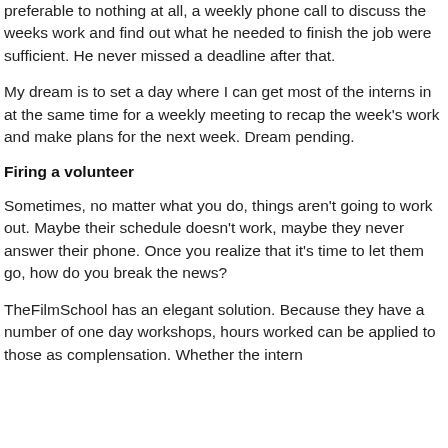preferable to nothing at all, a weekly phone call to discuss the weeks work and find out what he needed to finish the job were sufficient. He never missed a deadline after that.
My dream is to set a day where I can get most of the interns in at the same time for a weekly meeting to recap the week's work and make plans for the next week. Dream pending.
Firing a volunteer
Sometimes, no matter what you do, things aren't going to work out. Maybe their schedule doesn't work, maybe they never answer their phone. Once you realize that it's time to let them go, how do you break the news?
TheFilmSchool has an elegant solution. Because they have a number of one day workshops, hours worked can be applied to those as complensation. Whether the intern